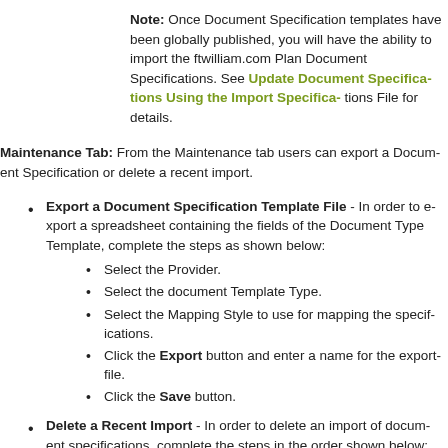Note: Once Document Specification templates have been globally published, you will have the ability to import the ftwilliam.com Plan Document Specifications. See Update Document Specifications Using the Import Specifications File for details.
Maintenance Tab: From the Maintenance tab users can export a Document Specification or delete a recent import.
Export a Document Specification Template File - In order to export a spreadsheet containing the fields of the Document Type Template, complete the steps in the order shown below:
Select the Provider.
Select the document Template Type.
Select the Mapping Style to use for mapping the specifications.
Click the Export button and enter a name for the export file.
Click the Save button.
Delete a Recent Import - In order to delete an import of document specifications, complete the steps in the order shown below:
Single-click the import.
Click the Delete button.